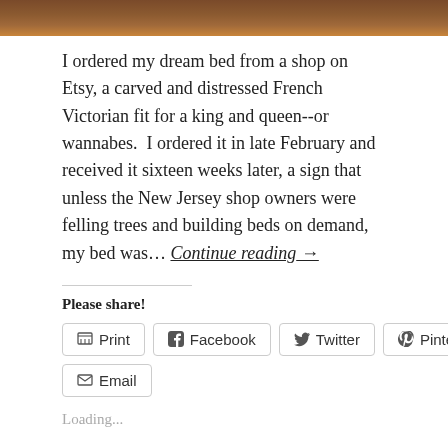[Figure (photo): Partial image at top showing wooden carved brown furniture/bed detail]
I ordered my dream bed from a shop on Etsy, a carved and distressed French Victorian fit for a king and queen--or wannabes.  I ordered it in late February and received it sixteen weeks later, a sign that unless the New Jersey shop owners were felling trees and building beds on demand, my bed was... Continue reading →
Please share!
Print | Facebook | Twitter | Pinterest | Email
Loading...